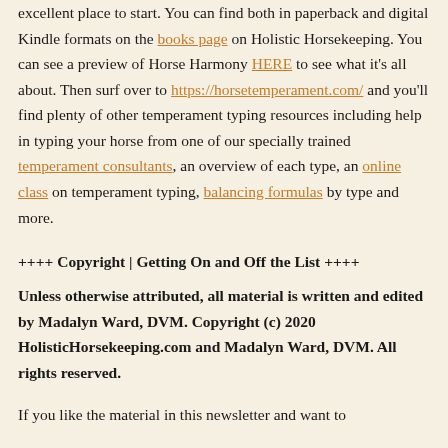developed by Madalyn Ward, DVM, then this is an excellent place to start. You can find both in paperback and digital Kindle formats on the books page on Holistic Horsekeeping. You can see a preview of Horse Harmony HERE to see what it's all about. Then surf over to https://horsetemperament.com/ and you'll find plenty of other temperament typing resources including help in typing your horse from one of our specially trained temperament consultants, an overview of each type, an online class on temperament typing, balancing formulas by type and more.
++++ Copyright | Getting On and Off the List ++++
Unless otherwise attributed, all material is written and edited by Madalyn Ward, DVM. Copyright (c) 2020 HolisticHorsekeeping.com and Madalyn Ward, DVM. All rights reserved.
If you like the material in this newsletter and want to...